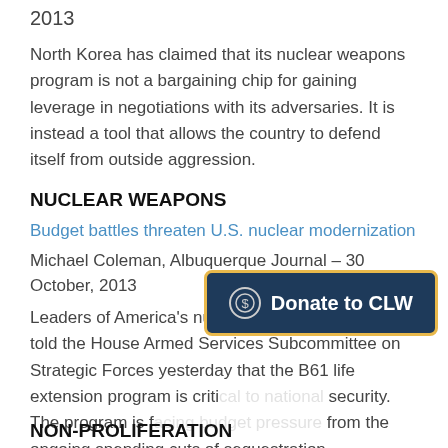2013
North Korea has claimed that its nuclear weapons program is not a bargaining chip for gaining leverage in negotiations with its adversaries. It is instead a tool that allows the country to defend itself from outside aggression.
NUCLEAR WEAPONS
Budget battles threaten U.S. nuclear modernization
Michael Coleman, Albuquerque Journal – 30 October, 2013
Leaders of America's nuclear weapons complex told the House Armed Services Subcommittee on Strategic Forces yesterday that the B61 life extension program is criti[cal to national] security. The program is f[acing a budget threat] from the ongoing spending cuts of sequestration.
[Figure (other): Donate to CLW button overlay with dollar sign icon and yellow border on dark navy background]
NON-PROLIFERATION